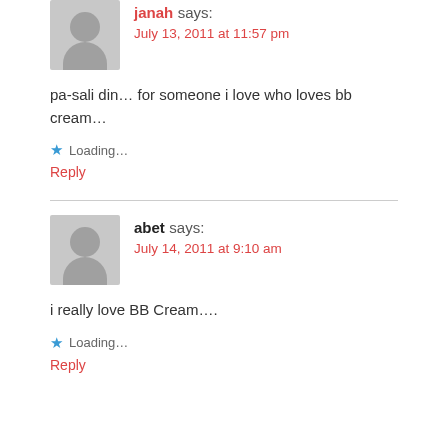janah says: July 13, 2011 at 11:57 pm
pa-sali din... for someone i love who loves bb cream...
★ Loading...
Reply
abet says: July 14, 2011 at 9:10 am
i really love BB Cream....
★ Loading...
Reply